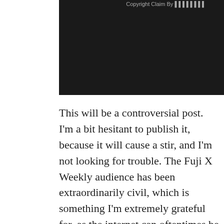[Figure (screenshot): Video player with dark background showing a copyright claim notice at the top and a YouTube play button icon in the lower right corner.]
This will be a controversial post. I'm a bit hesitant to publish it, because it will cause a stir, and I'm not looking for trouble. The Fuji X Weekly audience has been extraordinarily civil, which is something I'm extremely grateful for, as the internet can oftentimes be the exact opposite of civil. The internet has a way of bringing out the worst in people, perhaps because they can hide behind anonymity, or maybe there is a disconnect that makes interactions seem a bit less human; whatever the reason, people